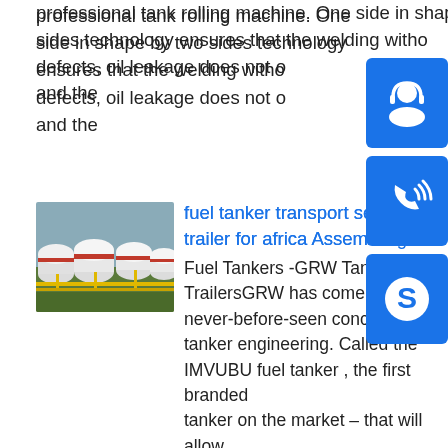professional tank rolling machine. One side in shape by two sides technology ensures that the welding without defects, oil leakage does not occur and the
[Figure (photo): Row of large white cylindrical industrial fuel/gas storage tanks with red horizontal stripes, connected by yellow pipes, outdoors under a cloudy sky.]
fuel tanker transport semi trailer for africa Assembling
Fuel Tankers -GRW Tankers and TrailersGRW has come up with a never-before-seen concept in fuel tanker engineering. Called the IMVUBU fuel tanker , the first branded tanker on the market – that will allow fuel …Estimated Reading Time: 3 mins Expl
[Figure (illustration): Blue square button with white headset/support icon (customer support)]
[Figure (illustration): Blue square button with white telephone/call icon with signal waves]
[Figure (illustration): Blue square button with white Skype logo icon]